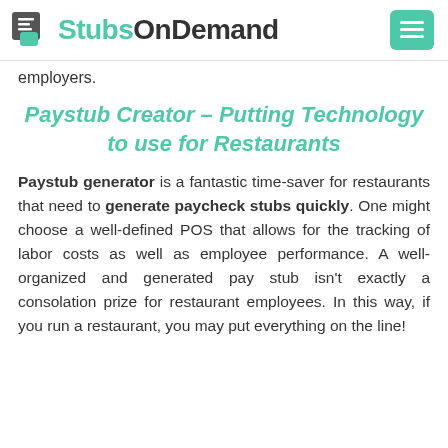StubsOnDemand
employers.
Paystub Creator – Putting Technology to use for Restaurants
Paystub generator is a fantastic time-saver for restaurants that need to generate paycheck stubs quickly. One might choose a well-defined POS that allows for the tracking of labor costs as well as employee performance. A well-organized and generated pay stub isn't exactly a consolation prize for restaurant employees. In this way, if you run a restaurant, you may put everything on the line!